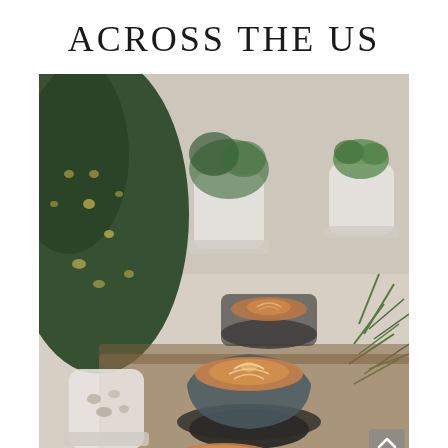ACROSS THE US
[Figure (photo): Overhead/angled photo of multiple latte art coffee cups on dark saucers arranged on a table surrounded by green houseplants in white pots, including a spotted leaf plant on the left, a succulent, and rosemary-like herbs on the right. Warm, lifestyle café aesthetic with soft bokeh background.]